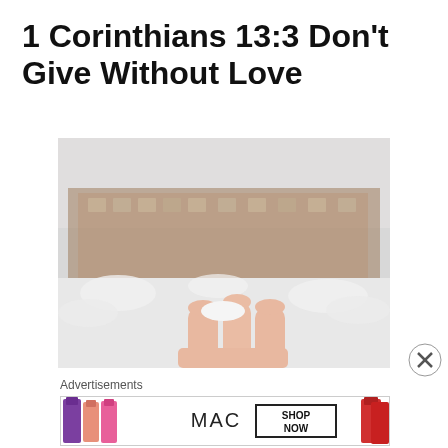1 Corinthians 13:3 Don't Give Without Love
[Figure (photo): A hand held open against a snowy winter background with blurred buildings and snow-covered ground]
Advertisements
[Figure (other): MAC Cosmetics advertisement showing lipsticks in purple, coral, pink, and red with 'SHOP NOW' button and MAC logo]